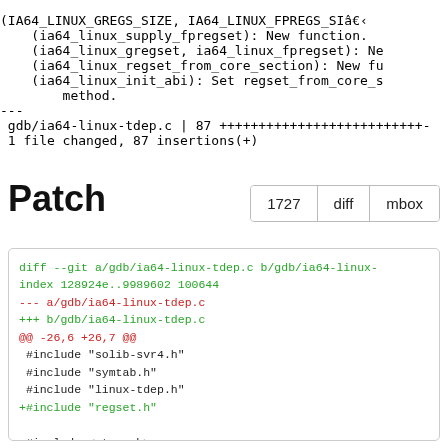(IA64_LINUX_GREGS_SIZE, IA64_LINUX_FPREGS_SI
(ia64_linux_supply_fpregset): New function.
(ia64_linux_gregset, ia64_linux_fpregset): Ne
(ia64_linux_regset_from_core_section): New fu
(ia64_linux_init_abi): Set regset_from_core_s
method.
---
gdb/ia64-linux-tdep.c | 87 ++++++++++++++++++++++++++-
1 file changed, 87 insertions(+)
Patch
1727   diff   mbox
[Figure (screenshot): Git diff patch for gdb/ia64-linux-tdep.c showing added #include regset.h and hunk header @@ -131,6 +132,88 @@]